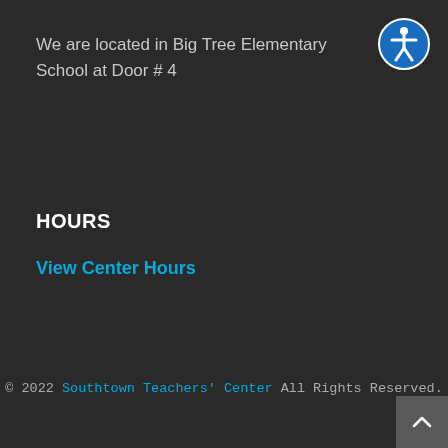We are located in Big Tree Elementary School at Door # 4
HOURS
View Center Hours
© 2022 Southtown Teachers' Center All Rights Reserved.